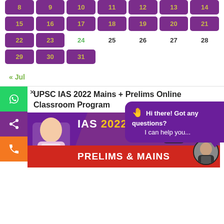| 8 | 9 | 10 | 11 | 12 | 13 | 14 |
| 15 | 16 | 17 | 18 | 19 | 20 | 21 |
| 22 | 23 | 24 | 25 | 26 | 27 | 28 |
| 29 | 30 | 31 |  |  |  |  |
« Jul
×
UPSC IAS 2022 Mains + Prelims Online Classroom Program
Hi there! Got any questions? I can help you...
[Figure (infographic): IAS 2022 Tablet Prelims & Mains promotional banner with person and red bar]
[Figure (photo): Avatar photo of a person in suit]